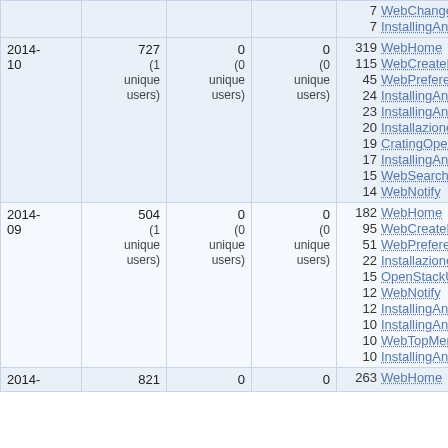| Date | Views | Edits | Contributors | Top Pages |
| --- | --- | --- | --- | --- |
| (partial top) |  |  |  | 7 WebChange...
7 InstallingAnd... |
| 2014-10 | 727 (1 unique users) | 0 (0 unique users) | 0 (0 unique users) | 319 WebHome
115 WebCreateN...
45 WebPreferen...
24 InstallingAnd...
23 InstallingAnd...
20 Installazione...
19 CratingOpen...
17 InstallingAnd...
15 WebSearch
14 WebNotify |
| 2014-09 | 504 (1 unique users) | 0 (0 unique users) | 0 (0 unique users) | 182 WebHome
95 WebCreateN...
51 WebPreferen...
22 Installazione...
15 OpenStackU...
12 WebNotify
12 InstallingAnd...
10 InstallingAnd...
10 WebTopMen...
10 InstallingAnd... |
| 2014- | 821 | 0 | 0 | 263 WebHome |